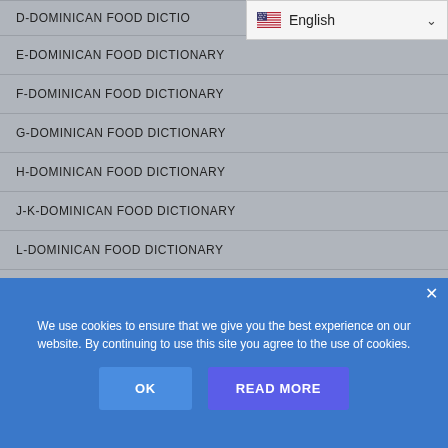[Figure (screenshot): Language selector dropdown showing English with US flag and chevron arrow]
D-DOMINICAN FOOD DICTIONARY
E-DOMINICAN FOOD DICTIONARY
F-DOMINICAN FOOD DICTIONARY
G-DOMINICAN FOOD DICTIONARY
H-DOMINICAN FOOD DICTIONARY
J-K-DOMINICAN FOOD DICTIONARY
L-DOMINICAN FOOD DICTIONARY
M-DOMINICAN FOOD DICTIONARY
N-DOMINICAN FOOD DICTIONARY
We use cookies to ensure that we give you the best experience on our website. By continuing to use this site you agree to the use of cookies.
OK
READ MORE